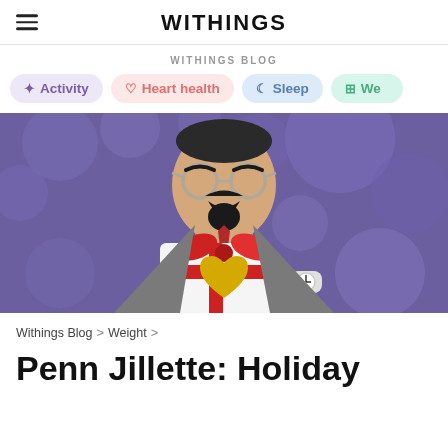WITHINGS
WITHINGS BLOG
Activity
Heart health
Sleep
We...
[Figure (illustration): Illustrated cartoon man with round glasses, dark beard and mustache, wearing a grey suit with blue shirt and red tie, holding a white gift box with red bow and gold heart, wearing a watch on his left wrist. Purple bokeh background.]
Withings Blog > Weight >
Penn Jillette: Holiday